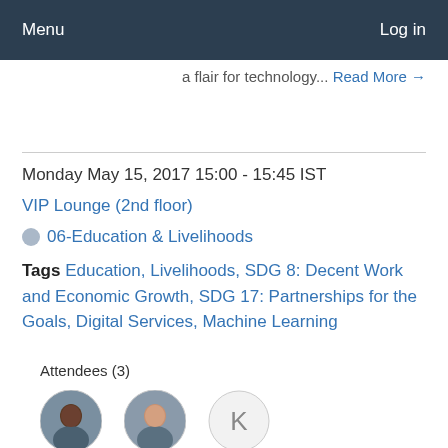Menu   Log in
a flair for technology... Read More →
Monday May 15, 2017 15:00 - 15:45 IST
VIP Lounge (2nd floor)
06-Education & Livelihoods
Tags Education, Livelihoods, SDG 8: Decent Work and Economic Growth, SDG 17: Partnerships for the Goals, Digital Services, Machine Learning
Attendees (3)
[Figure (photo): Three attendee avatars: two circular profile photos and one placeholder circle with letter K]